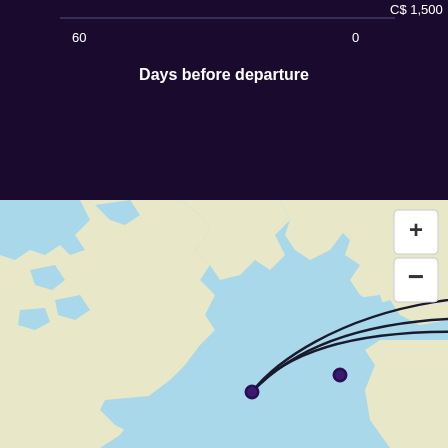[Figure (continuous-plot): Top portion of a line chart on dark navy background showing flight price vs days before departure. X-axis label '60' on left and '0' on right. Y-axis label 'C$ 1,500' on upper right. X-axis header 'Days before departure' in white bold text.]
[Figure (map): Interactive world map showing a great-circle flight route arc between two cities (approximately Toronto/Montreal on the left dot and Moscow/Kiev area on the right dot). The map has ocean in light blue and land in light yellow/cream. A zoom control with + and - buttons appears in the top right corner. A dark curved arc connects the two location dots.]